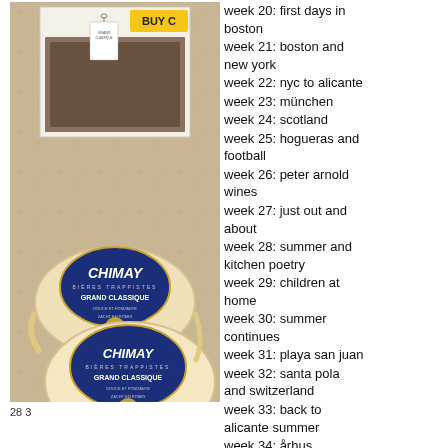[Figure (photo): Two rounds of Chimay Grand Classique cheese on a granite countertop, with a box in the background featuring a BUY sticker.]
week 20: first days in boston
week 21: boston and new york
week 22: nyc to alicante
week 23: münchen
week 24: scotland
week 25: hogueras and football
week 26: peter arnold wines
week 27: just out and about
week 28: summer and kitchen poetry
week 29: children at home
week 30: summer continues
week 31: playa san juan
week 32: santa pola and switzerland
week 33: back to alicante summer
week 34: århus
week 35: bbq and day out
week 36: la vuelta
week 37: berlin
week 38: sierra salinas bodega
week 39: san juan